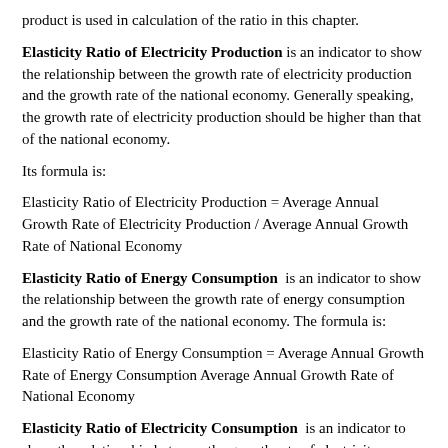product is used in calculation of the ratio in this chapter.
Elasticity Ratio of Electricity Production is an indicator to show the relationship between the growth rate of electricity production and the growth rate of the national economy. Generally speaking, the growth rate of electricity production should be higher than that of the national economy.
Its formula is:
Elasticity Ratio of Energy Consumption is an indicator to show the relationship between the growth rate of energy consumption and the growth rate of the national economy. The formula is:
Elasticity Ratio of Electricity Consumption is an indicator to show the relationship between the growth rate of electricity consumption and the growth rate of the national economy. The formula is: